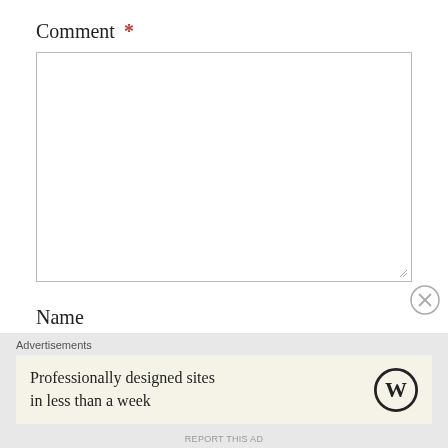Comment *
[Figure (other): Large comment textarea input box, empty, with resize handle at bottom right]
Name
[Figure (other): Name text input field, empty]
Advertisements
[Figure (other): Advertisement banner: 'Professionally designed sites in less than a week' with WordPress logo]
REPORT THIS AD